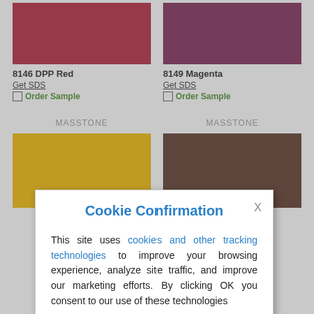[Figure (screenshot): Screenshot of a product color catalog webpage showing color swatches. Top row shows '8146 DPP Red' (dark red swatch) and '8149 Magenta' (dark magenta swatch), each with 'Get SDS' link and 'Order Sample' checkbox. Second row shows two color swatches under 'MASSTONE' labels — a yellow/golden swatch and a dark brown swatch. A cookie confirmation modal dialog overlays the page, with title 'Cookie Confirmation', body text about cookies and tracking, a blue 'OK' button, and an X close button.]
8146 DPP Red
8149 Magenta
Get SDS
Get SDS
Order Sample
Order Sample
MASSTONE
MASSTONE
Cookie Confirmation
This site uses cookies and other tracking technologies to improve your browsing experience, analyze site traffic, and improve our marketing efforts. By clicking OK you consent to our use of these technologies